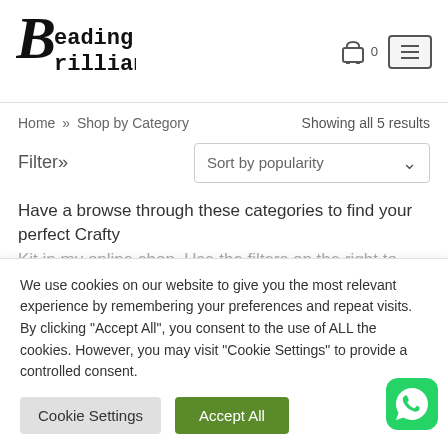[Figure (logo): Beading Brilliant logo with stylized B letter and handwritten-style font]
Basket 0 | Menu
Home » Shop by Category
Showing all 5 results
Filter»
Sort by popularity
Have a browse through these categories to find your perfect Crafty Kit in my online shop. Use the filters on the right to narrow your
We use cookies on our website to give you the most relevant experience by remembering your preferences and repeat visits. By clicking "Accept All", you consent to the use of ALL the cookies. However, you may visit "Cookie Settings" to provide a controlled consent.
Cookie Settings
Accept All